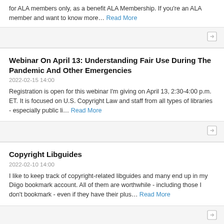for ALA members only, as a benefit ALA Membership. If you're an ALA member and want to know more… Read More
Webinar On April 13: Understanding Fair Use During The Pandemic And Other Emergencies
2022-02-15 14:00
Registration is open for this webinar I'm giving on April 13, 2:30-4:00 p.m. ET. It is focused on U.S. Copyright Law and staff from all types of libraries - especially public li… Read More
Copyright Libguides
2022-02-10 14:00
I like to keep track of copyright-related libguides and many end up in my Diigo bookmark account. All of them are worthwhile - including those I don't bookmark - even if they have their plus… Read More
Copyright Office Launches Digitized Copyright